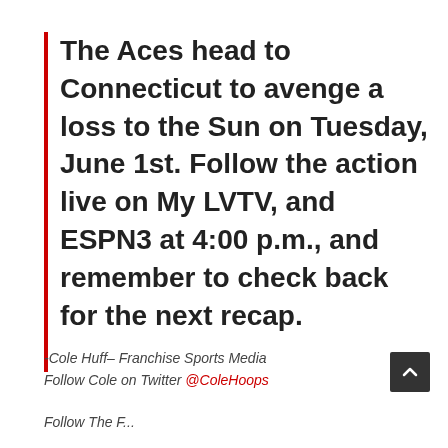The Aces head to Connecticut to avenge a loss to the Sun on Tuesday, June 1st. Follow the action live on My LVTV, and ESPN3 at 4:00 p.m., and remember to check back for the next recap.
-Cole Huff– Franchise Sports Media
Follow Cole on Twitter @ColeHoops